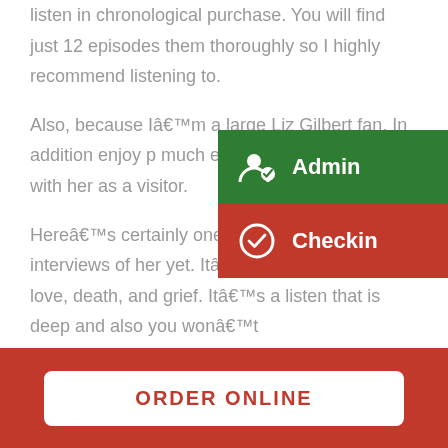listen in chronological purchase. You will find just 12 episodes them thoroughly so I highly recommend listening to.
Also, because Iâ€™m a large Liz Gilbert fan, In addition enjoy p... much every podcast show alo... with her as a visitor.
[Figure (screenshot): Dropdown menu overlay with two items: Admin (green background, person checkmark icon) and Checkin (red background, circle checkmark icon)]
Hereâ€™s certainly one of my personal favorite interviews of her yet. Itâ€™s about imagination, love, death, and grief. Itâ€™s a listen that is deep and also you wonâ€™t
ORDER ONLINE